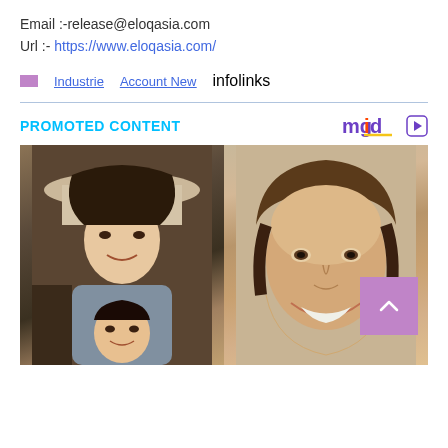Email :-release@eloqasia.com
Url :- https://www.eloqasia.com/
Industrie   Account New   infolinks
PROMOTED CONTENT
[Figure (photo): Two side-by-side photos: left shows a woman with a hat and a young girl, right shows a smiling man. A purple scroll-up button overlays the right photo.]